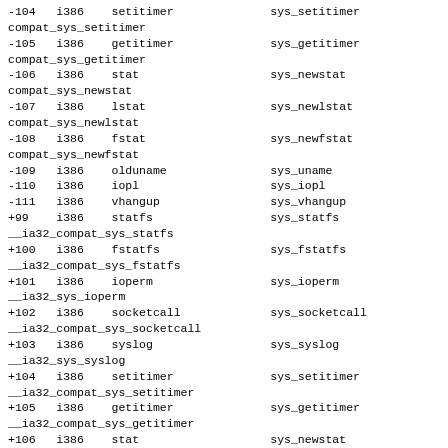-104	i386	setitimer				sys_setitimer
compat_sys_setitimer
-105	i386	getitimer				sys_getitimer
compat_sys_getitimer
-106	i386	stat					sys_newstat
compat_sys_newstat
-107	i386	lstat					sys_newlstat
compat_sys_newlstat
-108	i386	fstat					sys_newfstat
compat_sys_newfstat
-109	i386	olduname				sys_uname
-110	i386	iopl					sys_iopl
-111	i386	vhangup				sys_vhangup
+99	i386	statfs					sys_statfs
__ia32_compat_sys_statfs
+100	i386	fstatfs				sys_fstatfs
__ia32_compat_sys_fstatfs
+101	i386	ioperm				sys_ioperm
__ia32_sys_ioperm
+102	i386	socketcall				sys_socketcall
__ia32_compat_sys_socketcall
+103	i386	syslog				sys_syslog
__ia32_sys_syslog
+104	i386	setitimer				sys_setitimer
__ia32_compat_sys_setitimer
+105	i386	getitimer				sys_getitimer
__ia32_compat_sys_getitimer
+106	i386	stat					sys_newstat
__ia32_compat_sys_newstat
+107	i386	lstat					sys_newlstat